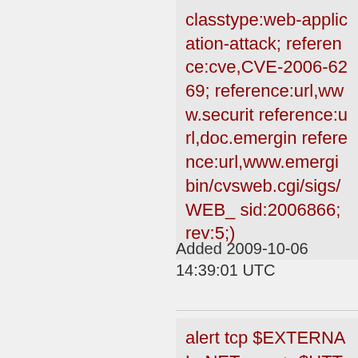classtype:web-application-attack; reference:cve,CVE-2006-6269; reference:url,www.securit reference:url,doc.emergin reference:url,www.emergi bin/cvsweb.cgi/sigs/WEB_ sid:2006866; rev:5;)
Added 2009-10-06 14:39:01 UTC
alert tcp $EXTERNAL_NET any -> $HTTP_SERVERS $HTTP_PORTS (msg:"ET WEB_SPECIFIC